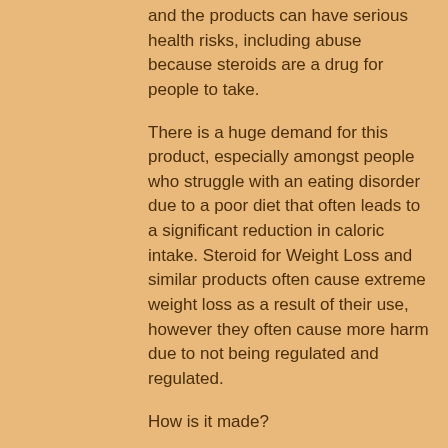and the products can have serious health risks, including abuse because steroids are a drug for people to take.
There is a huge demand for this product, especially amongst people who struggle with an eating disorder due to a poor diet that often leads to a significant reduction in caloric intake. Steroid for Weight Loss and similar products often cause extreme weight loss as a result of their use, however they often cause more harm due to not being regulated and regulated.
How is it made?
The production of steroids such as Sustanon is largely unregulated, however, it is generally agreed that the steroid industry is relatively unregulated due to the fact that it is used for weight loss (Steroid for Weight